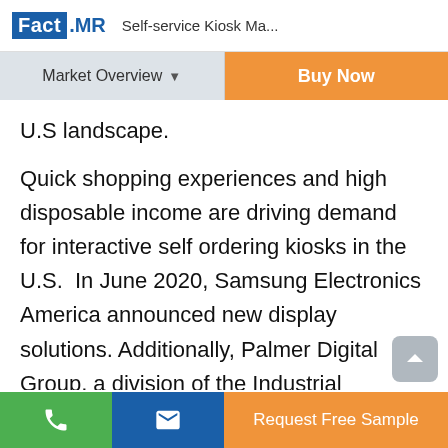Fact.MR  Self-service Kiosk Ma...
Market Overview ▼
Buy Now
U.S landscape.
Quick shopping experiences and high disposable income are driving demand for interactive self ordering kiosks in the U.S.  In June 2020, Samsung Electronics America announced new display solutions. Additionally, Palmer Digital Group, a division of the Industrial Enclosure Corporation, introduced a temperature screening self-service kiosk to track temperatures before entering any
Request Free Sample